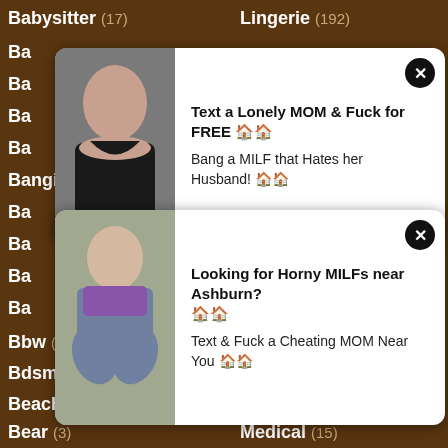Babysitter (17)
Lingerie (192)
[Figure (other): Ad popup: woman in black top. Text: Text a Lonely MOM & Fuck for FREE. Bang a MILF that Hates her Husband!]
Banging (11)
Machine (42)
[Figure (other): Ad popup: woman seated. Text: Looking for Horny MILFs near Ashburn? Text & Fuck a Cheating MOM Near You]
Bbw (139)
Massage (184)
Bdsm (174)
Masturbating (325)
Beach (37)
Mature (902)
Bear (3)
Medical (15)
Beautiful (132)
Mega (17)
Bedroom (13)
Messy (4)
Behind (22)
Mexican (20)
Big (2205)
Midget (9)